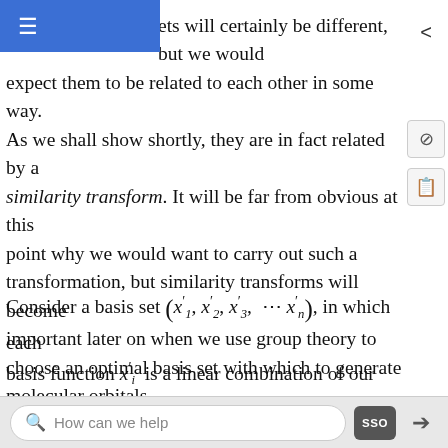ets will certainly be different, but we would expect them to be related to each other in some way. As we shall show shortly, they are in fact related by a similarity transform. It will be far from obvious at this point why we would want to carry out such a transformation, but similarity transforms will become important later on when we use group theory to choose an optimal basis set with which to generate molecular orbitals.
Consider a basis set (x'_1, x'_2, x'_3, ... x'_n), in which each basis function x'_i is a linear combination of our original basis (x_1, x_2, x_3, ... x_n).
How can we help | SSO